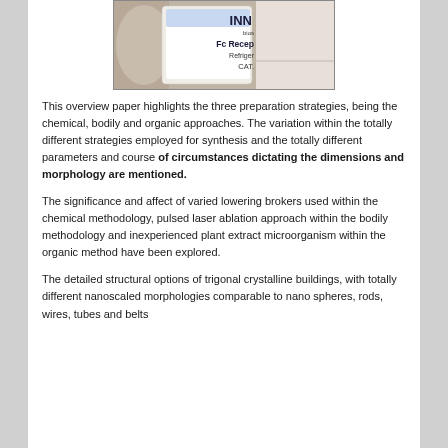[Figure (photo): Photo of a laboratory reagent vial/bottle showing partial label text including 'INN bios', 'Fc Recep', 'Refriger', 'CAT.']
This overview paper highlights the three preparation strategies, being the chemical, bodily and organic approaches. The variation within the totally different strategies employed for synthesis and the totally different parameters and course of circumstances dictating the dimensions and morphology are mentioned.
The significance and affect of varied lowering brokers used within the chemical methodology, pulsed laser ablation approach within the bodily methodology and inexperienced plant extract microorganism within the organic method have been explored.
The detailed structural options of trigonal crystalline buildings, with totally different nanoscaled morphologies comparable to nano spheres, rods, wires, tubes and belts